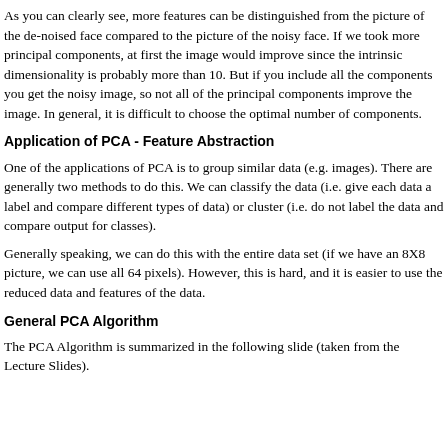As you can clearly see, more features can be distinguished from the picture of the de-noised face compared to the picture of the noisy face. If we took more principal components, at first the image would improve since the intrinsic dimensionality is probably more than 10. But if you include all the components you get the noisy image, so not all of the principal components improve the image. In general, it is difficult to choose the optimal number of components.
Application of PCA - Feature Abstraction
One of the applications of PCA is to group similar data (e.g. images). There are generally two methods to do this. We can classify the data (i.e. give each data a label and compare different types of data) or cluster (i.e. do not label the data and compare output for classes).
Generally speaking, we can do this with the entire data set (if we have an 8X8 picture, we can use all 64 pixels). However, this is hard, and it is easier to use the reduced data and features of the data.
General PCA Algorithm
The PCA Algorithm is summarized in the following slide (taken from the Lecture Slides).